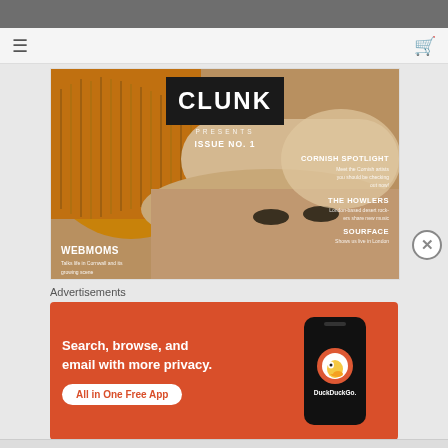[Figure (screenshot): Top grey navigation bar of a website]
[Figure (illustration): Magazine cover for CLUNK MAGAZINE, Issue No. 1. Features a close-up of a person wearing a knitted hat with eyes visible. Text includes: PRESENTS, ISSUE NO. 1, CORNISH SPOTLIGHT (Meet the Cornish artists you should be checking out now), THE HOWLERS (London-based desert rockers share new music), SOURFACE (Shows us live in London), WEBMOMS (Talks life in Cornwall and its growing scene).]
Advertisements
[Figure (screenshot): DuckDuckGo advertisement banner. Orange/red background. Text: Search, browse, and email with more privacy. All in One Free App. Shows a smartphone with DuckDuckGo logo.]